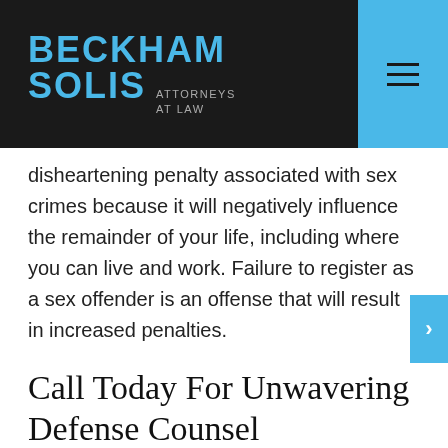BECKHAM SOLIS ATTORNEYS AT LAW
disheartening penalty associated with sex crimes because it will negatively influence the remainder of your life, including where you can live and work. Failure to register as a sex offender is an offense that will result in increased penalties.
Call Today For Unwavering Defense Counsel
Sex crime cases typically consist of one person's word against another. In such circumstances, the testimonies can become very inconsistent and evidence may be